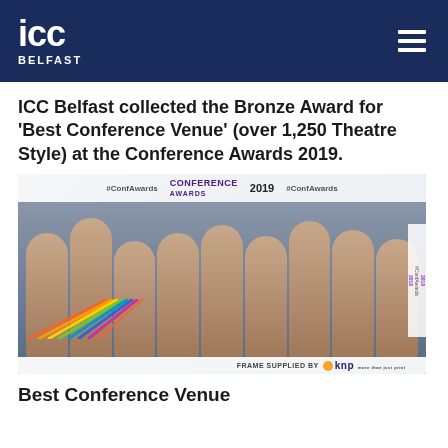ICC BELFAST
ICC Belfast collected the Bronze Award for 'Best Conference Venue' (over 1,250 Theatre Style) at the Conference Awards 2019.
[Figure (photo): Group photo of ICC Belfast team at the Conference Awards 2019, standing in front of a branded photo frame with rainbow burst design. The frame reads #ConfAwards Conference Awards 2019. Bottom of frame reads FRAME SUPPLIED BY knp.]
Best Conference Venue